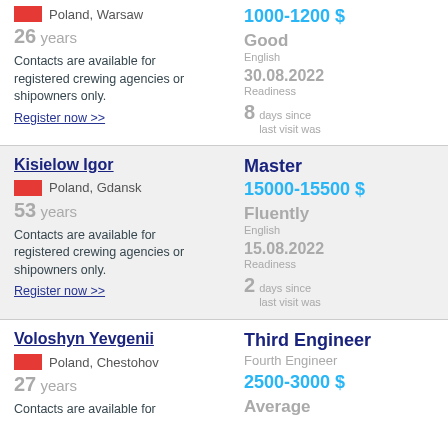Poland, Warsaw
26 years
Contacts are available for registered crewing agencies or shipowners only.
Register now >>
1000-1200 $
Good
English
30.08.2022
Readiness
8 days since last visit was
Kisielow Igor
Poland, Gdansk
53 years
Contacts are available for registered crewing agencies or shipowners only.
Register now >>
Master
15000-15500 $
Fluently
English
15.08.2022
Readiness
2 days since last visit was
Voloshyn Yevgenii
Poland, Chestohov
27 years
Contacts are available for
Third Engineer
Fourth Engineer
2500-3000 $
Average